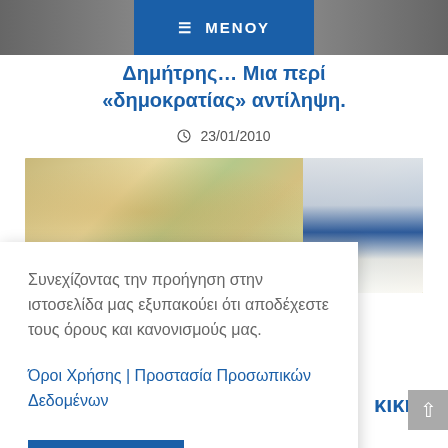[Figure (screenshot): Top navigation bar with dark background image and blue ΜΕΝΟΥ menu overlay button]
Δημήτρης … Μια περί «δημοκρατίας» αντίληψη.
23/01/2010
[Figure (photo): Historical map showing geographic region with terrain colors]
Συνεχίζοντας την προήγηση στην ιστοσελίδα μας εξυπακούει ότι αποδέχεστε τους όρους και κανονισμούς μας.
Όροι Χρήσης | Προστασία Προσωπικών Δεδομένων
ΑΠΟΔΟΧΗ
κική